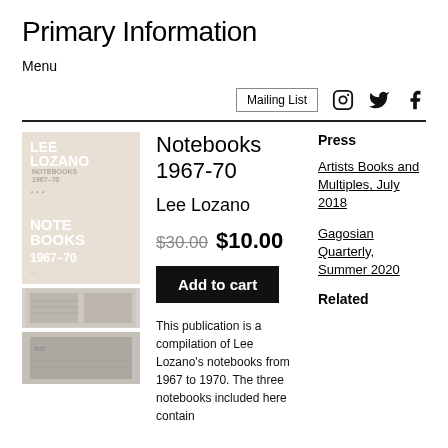Primary Information
Menu
Mailing List
Notebooks 1967-70
Lee Lozano
$30.00  $10.00
Add to cart
This publication is a compilation of Lee Lozano's notebooks from 1967 to 1970. The three notebooks included here contain
Press
Artists Books and Multiples, July 2018
Gagosian Quarterly, Summer 2020
Related